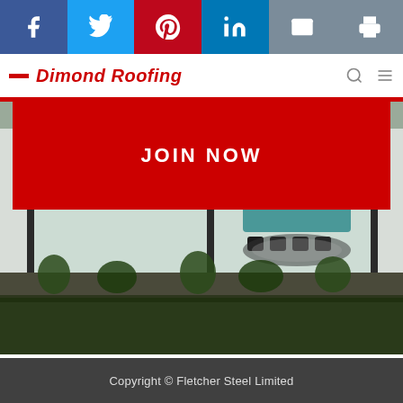[Figure (screenshot): Social sharing bar with Facebook, Twitter, Pinterest, LinkedIn, Email, and Print buttons]
Dimond Roofing
JOIN NOW
[Figure (photo): Office building exterior with large glass windows revealing a conference room with chairs and table, and planted garden bed in foreground]
Copyright © Fletcher Steel Limited